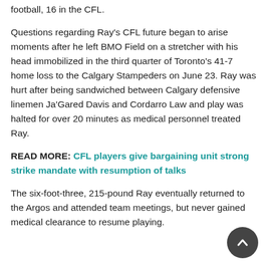football, 16 in the CFL.
Questions regarding Ray's CFL future began to arise moments after he left BMO Field on a stretcher with his head immobilized in the third quarter of Toronto's 41-7 home loss to the Calgary Stampeders on June 23. Ray was hurt after being sandwiched between Calgary defensive linemen Ja'Gared Davis and Cordarro Law and play was halted for over 20 minutes as medical personnel treated Ray.
READ MORE: CFL players give bargaining unit strong strike mandate with resumption of talks
The six-foot-three, 215-pound Ray eventually returned to the Argos and attended team meetings, but never gained medical clearance to resume playing.